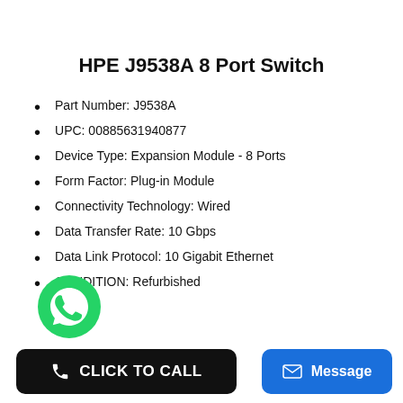HPE J9538A 8 Port Switch
Part Number: J9538A
UPC: 00885631940877
Device Type: Expansion Module - 8 Ports
Form Factor: Plug-in Module
Connectivity Technology: Wired
Data Transfer Rate: 10 Gbps
Data Link Protocol: 10 Gigabit Ethernet
CONDITION: Refurbished
[Figure (logo): WhatsApp green phone icon circle]
[Figure (infographic): Black CLICK TO CALL button with phone icon]
[Figure (infographic): Blue Message button with envelope icon]